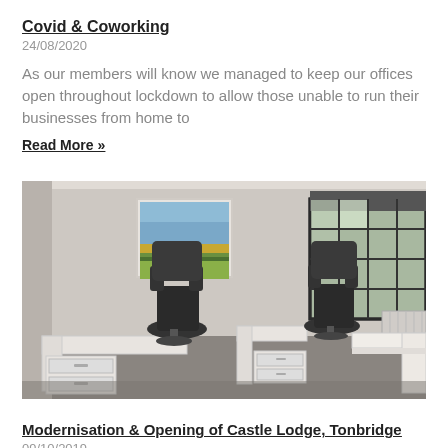Covid & Coworking
24/08/2020
As our members will know we managed to keep our offices open throughout lockdown to allow those unable to run their businesses from home to
Read More »
[Figure (photo): Interior of a modern office room with white desks, black office chairs, white pedestal drawers, a colorful landscape painting on the wall, and a large dark-framed grid window on the right side.]
Modernisation & Opening of Castle Lodge, Tonbridge
09/10/2019